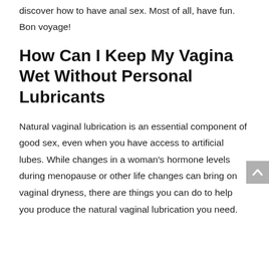communicate openly with your partner while you discover how to have anal sex. Most of all, have fun. Bon voyage!
How Can I Keep My Vagina Wet Without Personal Lubricants
Natural vaginal lubrication is an essential component of good sex, even when you have access to artificial lubes. While changes in a woman's hormone levels during menopause or other life changes can bring on vaginal dryness, there are things you can do to help you produce the natural vaginal lubrication you need.